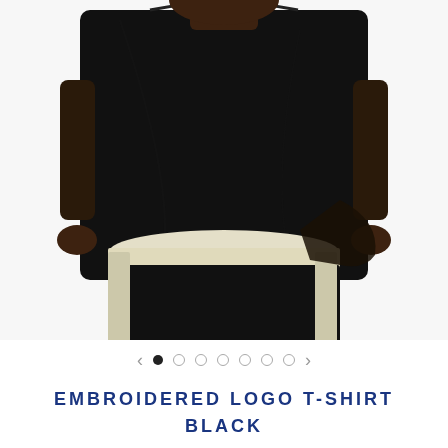[Figure (photo): A man wearing a black embroidered logo t-shirt with hands in pockets, paired with black and white shorts. Photo shows torso and lower body, cropped at shoulders and mid-thigh, against a white background.]
< • ○ ○ ○ ○ ○ ○ >
EMBROIDERED LOGO T-SHIRT BLACK